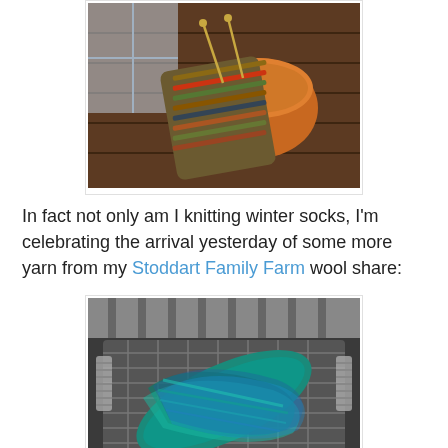[Figure (photo): A knitted sock in progress with multicolor yarn (autumn earth tones), resting on a wooden table next to an orange ceramic bowl. Knitting needles are visible.]
In fact not only am I knitting winter socks, I'm celebrating the arrival yesterday of some more yarn from my Stoddart Family Farm wool share:
[Figure (photo): A skein of variegated teal and blue yarn draped over a metal wire rack or basket, viewed from above.]